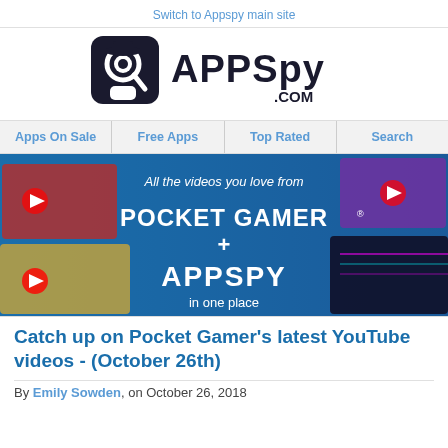Switch to Appspy main site
[Figure (logo): AppSpy.com logo with detective icon and bold text]
Apps On Sale | Free Apps | Top Rated | Search
[Figure (illustration): Banner: All the videos you love from Pocket Gamer + AppSpy in one place]
Catch up on Pocket Gamer's latest YouTube videos - (October 26th)
By Emily Sowden, on October 26, 2018